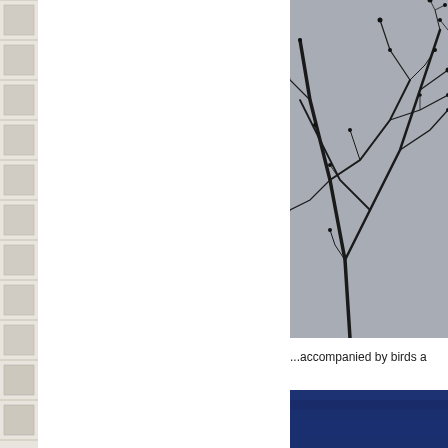[Figure (photo): Narrow vertical strip showing the facade of a multi-story building with repeating horizontal balconies or window elements, white/beige tones.]
[Figure (photo): Photograph of bare tree branches silhouetted against a grey overcast sky, filling most of the right column.]
...accompanied by birds a
[Figure (photo): Bottom right photo showing a dark navy/blue textured surface, partially visible.]